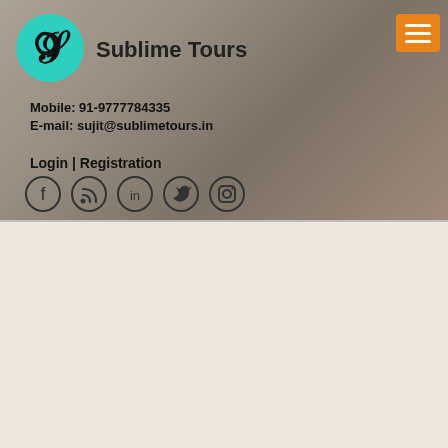[Figure (logo): Sublime Tours logo: teal circle with stylized S letter mark, positioned in header]
Sublime Tours
[Figure (other): Orange hamburger menu button with three white horizontal lines]
Mobile: 91-9777784335
E-mail: sujit@sublimetours.in
Login | Registration
[Figure (other): Five social media icons in circles: Facebook, RSS, LinkedIn, Twitter, Instagram]
[Figure (logo): Sublime Tours logo: large teal circle with stylized S letter mark, in About Us section]
About Us
Sublime Tour, an Odisha, India based Responsible cultural travel organization encourages visitors to come and experience our diverse and ethnic culture. Sublime tours, recognized from Dept. of Tourism, Govt. of Odisha, India, IATO, TAAI. Sublime tours offers a range of authentic Ethnic and Heritage tour packages with focus on cross cultural